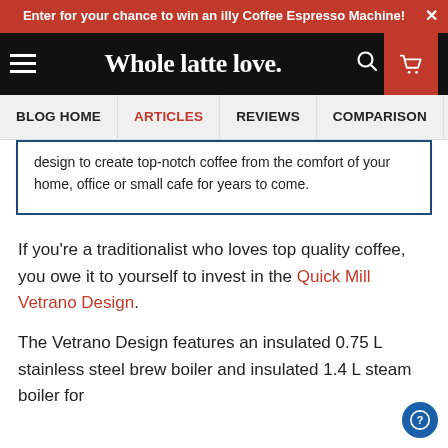Enter for your chance to win an illy Coffee Espresso Machine! ×
Whole latte love.
BLOG HOME   ARTICLES   REVIEWS   COMPARISON
design to create top-notch coffee from the comfort of your home, office or small cafe for years to come.
If you're a traditionalist who loves top quality coffee, you owe it to yourself to invest in the Quick Mill Vetrano Design.
The Vetrano Design features an insulated 0.75 L stainless steel brew boiler and insulated 1.4 L steam boiler for